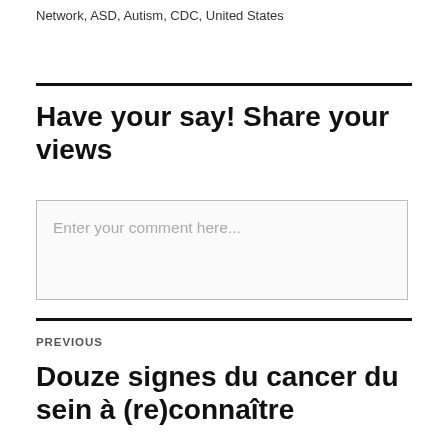Network, ASD, Autism, CDC, United States
Have your say! Share your views
Enter your comment here...
PREVIOUS
Douze signes du cancer du sein à (re)connaître